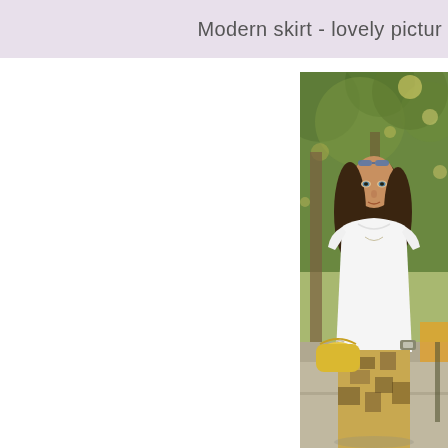Modern skirt - lovely pictur
[Figure (photo): A young woman with long brown hair and sunglasses on her head, wearing a white t-shirt and a patterned skirt, holding a yellow basket bag, standing on a tree-lined street with bokeh background.]